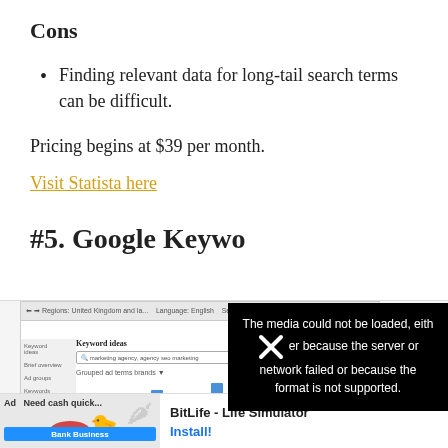Cons
Finding relevant data for long-tail search terms can be difficult.
Pricing begins at $39 per month.
Visit Statista here
#5. Google Keyword Tool
[Figure (screenshot): Screenshot of Google Keyword Ideas tool showing a search bar with 'marketing agency, agency seo marketing' and a bar chart of keyword data, partially obscured by a media error overlay reading 'The media could not be loaded, either because the server or network failed or because the format is not supported.' with an X button, and an ad banner at the bottom for BitLife - Life Simulator with an Install button.]